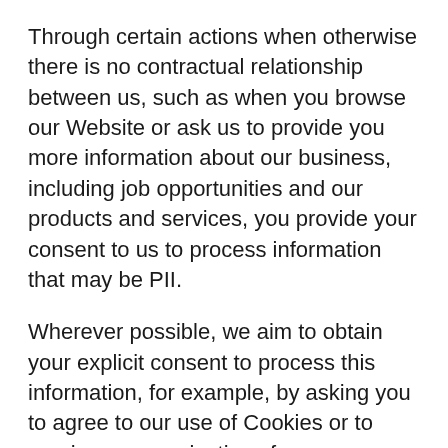Through certain actions when otherwise there is no contractual relationship between us, such as when you browse our Website or ask us to provide you more information about our business, including job opportunities and our products and services, you provide your consent to us to process information that may be PII.
Wherever possible, we aim to obtain your explicit consent to process this information, for example, by asking you to agree to our use of Cookies or to receive communications from us.
Sometimes you might give your consent implicitly, such as when you send us a message by e-mail to which you would reasonably expect us to reply.
When we communicate with you about our business, we will use the contact information you